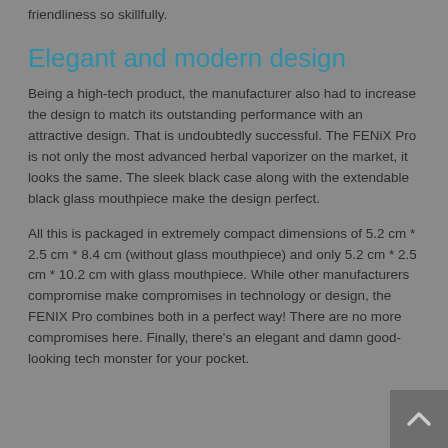friendliness so skillfully.
Elegant and modern design
Being a high-tech product, the manufacturer also had to increase the design to match its outstanding performance with an attractive design. That is undoubtedly successful. The FENiX Pro is not only the most advanced herbal vaporizer on the market, it looks the same. The sleek black case along with the extendable black glass mouthpiece make the design perfect.
All this is packaged in extremely compact dimensions of 5.2 cm * 2.5 cm * 8.4 cm (without glass mouthpiece) and only 5.2 cm * 2.5 cm * 10.2 cm with glass mouthpiece. While other manufacturers compromise make compromises in technology or design, the FENIX Pro combines both in a perfect way! There are no more compromises here. Finally, there's an elegant and damn good-looking tech monster for your pocket.